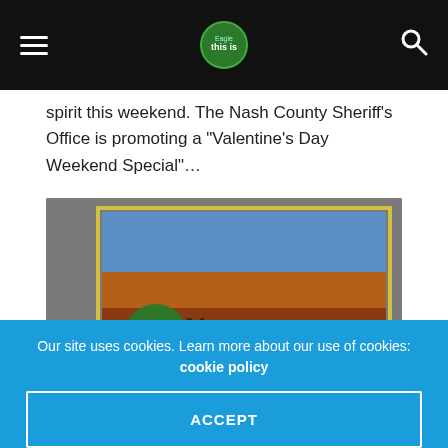[Navigation header with hamburger menu, site logo, and search icon]
spirit this weekend. The Nash County Sheriff’s Office is promoting a “Valentine’s Day Weekend Special”…
[Figure (photo): Blurred image of what appears to be a book or pamphlet cover with the text 'Sunrise' visible and a green circular logo/badge in the lower left. The background shows warm orange/brown tones with a blue sky at the top. The image has a yellow border.]
Our site uses cookies. Learn more about our use of cookies: cookie policy
ACCEPT